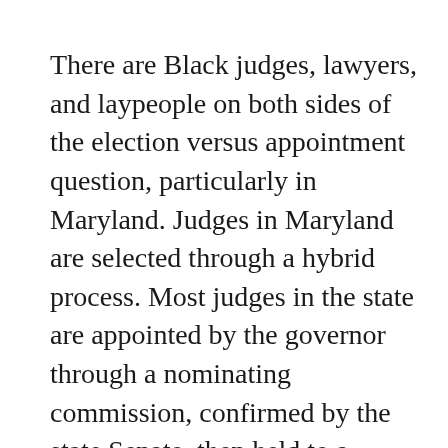There are Black judges, lawyers, and laypeople on both sides of the election versus appointment question, particularly in Maryland. Judges in Maryland are selected through a hybrid process. Most judges in the state are appointed by the governor through a nominating commission, confirmed by the state Senate, then held to a retention election after 10 or 15 years. The exception is Circuit Court, where any eligible person can run against a sitting judge.
Years ago in Baltimore City, prominent Black lawyer Billy Murphy ran for Circuit Court judge in the majority Black jurisdiction and